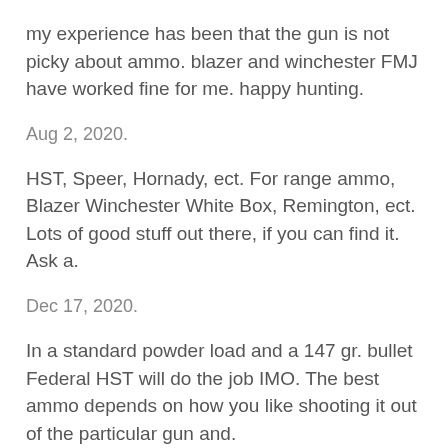my experience has been that the gun is not picky about ammo. blazer and winchester FMJ have worked fine for me. happy hunting.
Aug 2, 2020.
HST, Speer, Hornady, ect. For range ammo, Blazer Winchester White Box, Remington, ect. Lots of good stuff out there, if you can find it. Ask a.
Dec 17, 2020.
In a standard powder load and a 147 gr. bullet Federal HST will do the job IMO. The best ammo depends on how you like shooting it out of the particular gun and.